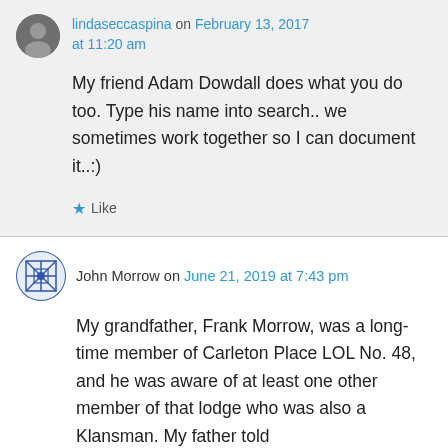lindaseccaspina on February 13, 2017 at 11:20 am
My friend Adam Dowdall does what you do too. Type his name into search.. we sometimes work together so I can document it..:)
Like
John Morrow on June 21, 2019 at 7:43 pm
My grandfather, Frank Morrow, was a long-time member of Carleton Place LOL No. 48, and he was aware of at least one other member of that lodge who was also a Klansman. My father told